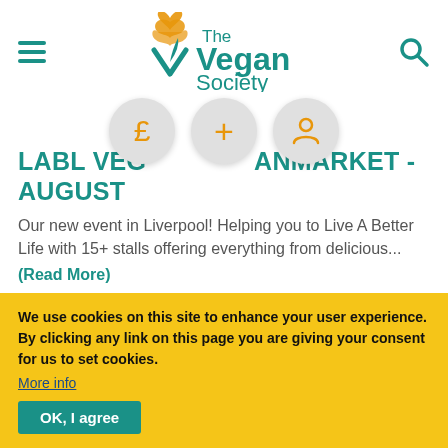The Vegan Society
LABL VeganMarket - August
Our new event in Liverpool! Helping you to Live A Better Life with 15+ stalls offering everything from delicious... (Read More)
Saffron 2021
We use cookies on this site to enhance your user experience. By clicking any link on this page you are giving your consent for us to set cookies. More info OK, I agree